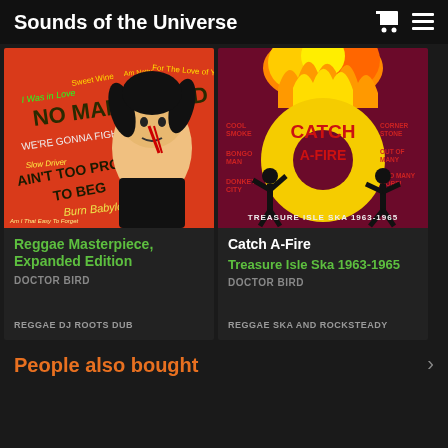Sounds of the Universe
[Figure (illustration): Album cover for Reggae Masterpiece Expanded Edition - red background with illustrated figure and song titles]
Reggae Masterpiece, Expanded Edition
DOCTOR BIRD
REGGAE DJ ROOTS DUB
[Figure (illustration): Album cover for Catch A-Fire Treasure Isle Ska 1963-1965 - dark red background with fire and yellow donut graphic]
Catch A-Fire
Treasure Isle Ska 1963-1965
DOCTOR BIRD
REGGAE SKA AND ROCKSTEADY
People also bought